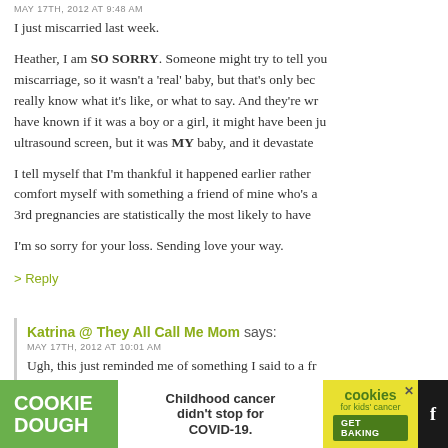MAY 17TH, 2012 AT 9:48 AM
I just miscarried last week.
Heather, I am SO SORRY. Someone might try to tell you that it was an early miscarriage, so it wasn't a 'real' baby, but that's only because they don't really know what it's like, or what to say. And they're wrong. You may not have known if it was a boy or a girl, it might have been just a blob on an ultrasound screen, but it was MY baby, and it devastated me.
I tell myself that I'm thankful it happened earlier rather than later, and I comfort myself with something a friend of mine who's a doctor told me: that 3rd pregnancies are statistically the most likely to have a problem.
I'm so sorry for your loss. Sending love your way.
> Reply
Katrina @ They All Call Me Mom says:
MAY 17TH, 2012 AT 10:01 AM
Ugh, this just reminded me of something I said to a friend before I was a mother myself and had NO clue whatsoever. She was 8 weeks pregnant and started spotting. An ultrasound...
[Figure (screenshot): Advertisement banner at bottom: Cookie Dough (green), Childhood cancer didn't stop for COVID-19 (center), cookies for kids' cancer GET BAKING (yellow right side), with close X button and social icons]